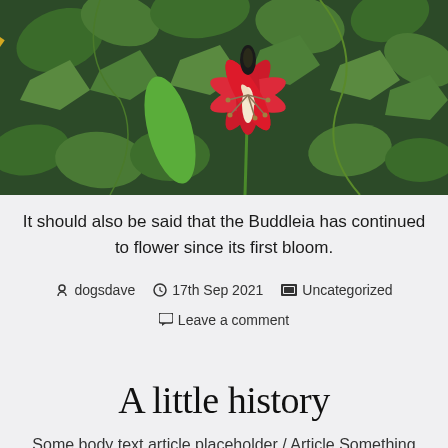[Figure (photo): Garden photo showing green foliage, ivy leaves, a yellow bamboo cane, and a red and white exotic flower (Gloriosa lily) in the center]
It should also be said that the Buddleia has continued to flower since its first bloom.
dogsdave  17th Sep 2021  Uncategorized  Leave a comment
A little history
Some body text article placeholder / Article Something